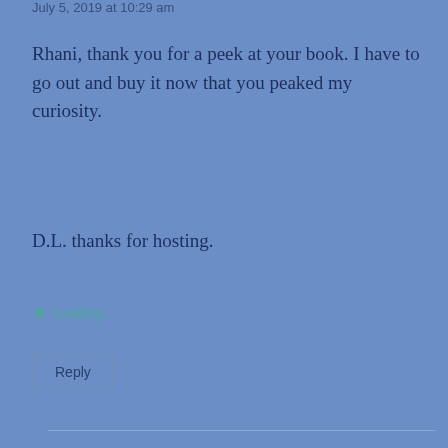July 5, 2019 at 10:29 am
Rhani, thank you for a peek at your book. I have to go out and buy it now that you peaked my curiosity.
D.L. thanks for hosting.
Loading...
Reply
D.L Finn, Author
July 5, 2019 at 2:35 pm
Hav... to Shirley,)